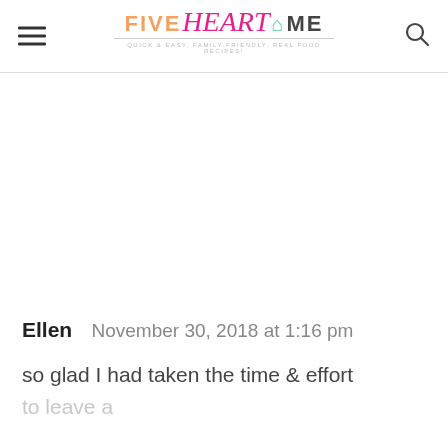FIVE heart HOME — QUICK & EASY, FAMILY FRIENDLY, REAL FOOD RECIPES!
Ellen   November 30, 2018 at 1:16 pm
so glad I had taken the time & effort to leave a